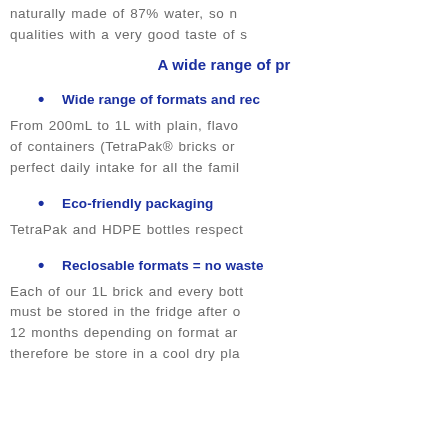naturally made of 87% water, so n qualities with a very good taste of s
A wide range of pr
Wide range of formats and rec
From 200mL to 1L with plain, flavo of containers (TetraPak® bricks or perfect daily intake for all the famil
Eco-friendly packaging
TetraPak and HDPE bottles respect
Reclosable formats = no waste
Each of our 1L brick and every bott must be stored in the fridge after o 12 months depending on format ar therefore be store in a cool dry pla